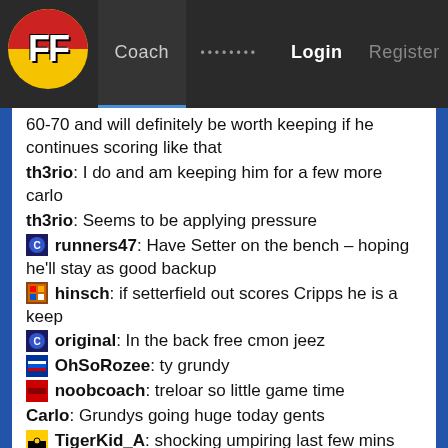FF | Coach | ........ | Login | Register
60-70 and will definitely be worth keeping if he continues scoring like that
th3rio: I do and am keeping him for a few more carlo
th3rio: Seems to be applying pressure
runners47: Have Setter on the bench – hoping he'll stay as good backup
hinsch: if setterfield out scores Cripps he is a keep
original: In the back free cmon jeez
OhSoRozee: ty grundy
noobcoach: treloar so little game time
Carlo: Grundys going huge today gents
TigerKid_A: shocking umpiring last few mins
th3rio: Grundyyyy
Yoohow: Grundy Vice over Neale vice